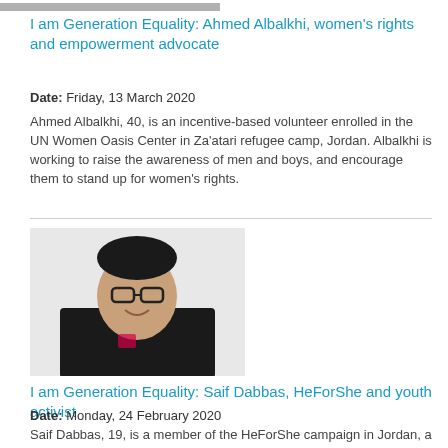[Figure (photo): Partial image strip at top of page, cropped]
I am Generation Equality: Ahmed Albalkhi, women's rights and empowerment advocate
Date: Friday, 13 March 2020
Ahmed Albalkhi, 40, is an incentive-based volunteer enrolled in the UN Women Oasis Center in Za'atari refugee camp, Jordan. Albalkhi is working to raise the awareness of men and boys, and encourage them to stand up for women's rights.
[Figure (photo): Portrait photo of a young man with glasses, wearing a black shirt, smiling against a light background]
I am Generation Equality: Saif Dabbas, HeForShe and youth activist
Date: Monday, 24 February 2020
Saif Dabbas, 19, is a member of the HeForShe campaign in Jordan, a solidarity movement for the advancement of gender equality led by UN Women. Dabbas has been a feminist advocate since age 14 and believes youth should be at the forefront of the gender equality